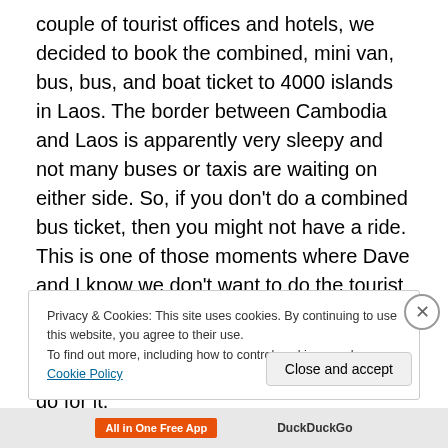couple of tourist offices and hotels, we decided to book the combined, mini van, bus, bus, and boat ticket to 4000 islands in Laos. The border between Cambodia and Laos is apparently very sleepy and not many buses or taxis are waiting on either side. So, if you don't do a combined bus ticket, then you might not have a ride. This is one of those moments where Dave and I know we don't want to do the tourist bus border crossing-any organized border crossing can be riddled with scams-but don't really have any other options, so we go for it.
Privacy & Cookies: This site uses cookies. By continuing to use this website, you agree to their use. To find out more, including how to control cookies, see here: Cookie Policy
Close and accept